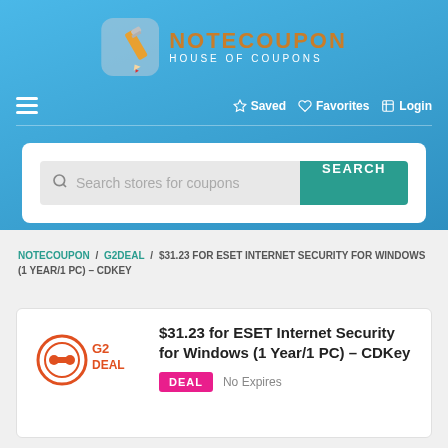[Figure (logo): NoteCoupon logo with pencil icon and text 'NOTECOUPON HOUSE OF COUPONS']
☆ Saved  ♡ Favorites  ⏻ Login
[Figure (screenshot): Search bar with placeholder 'Search stores for coupons' and SEARCH button]
NOTECOUPON / G2DEAL / $31.23 FOR ESET INTERNET SECURITY FOR WINDOWS (1 YEAR/1 PC) – CDKEY
$31.23 for ESET Internet Security for Windows (1 Year/1 PC) – CDKey
DEAL  No Expires